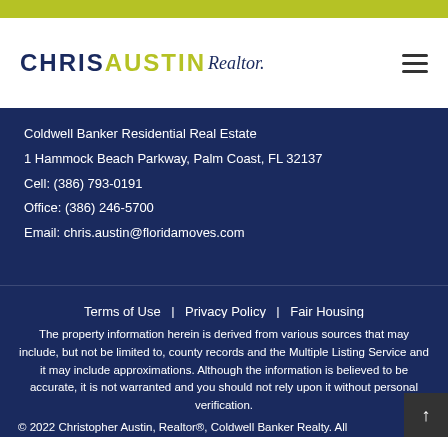Chris Austin Realtor – Coldwell Banker Residential Real Estate
Coldwell Banker Residential Real Estate
1 Hammock Beach Parkway, Palm Coast, FL 32137
Cell: (386) 793-0191
Office: (386) 246-5700
Email: chris.austin@floridamoves.com
Terms of Use | Privacy Policy | Fair Housing
The property information herein is derived from various sources that may include, but not be limited to, county records and the Multiple Listing Service and it may include approximations. Although the information is believed to be accurate, it is not warranted and you should not rely upon it without personal verification.
© 2022 Christopher Austin, Realtor®, Coldwell Banker Realty. All